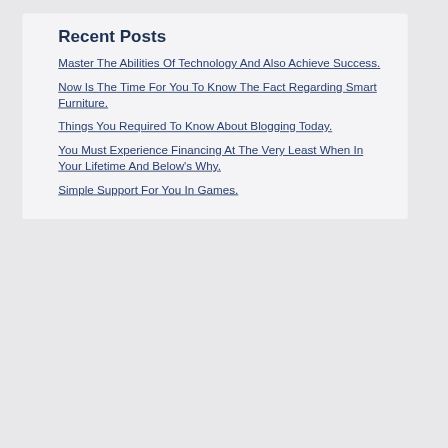Recent Posts
Master The Abilities Of Technology And Also Achieve Success.
Now Is The Time For You To Know The Fact Regarding Smart Furniture.
Things You Required To Know About Blogging Today.
You Must Experience Financing At The Very Least When In Your Lifetime And Below's Why.
Simple Support For You In Games.